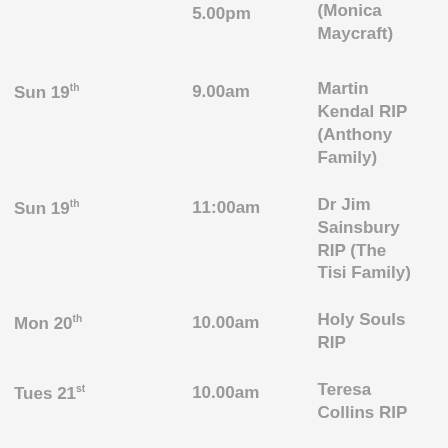| Date | Time | Intention |
| --- | --- | --- |
|  | 5.00pm | (Monica Maycraft) |
| Sun 19th | 9.00am | Martin Kendal RIP (Anthony Family) |
| Sun 19th | 11:00am | Dr Jim Sainsbury RIP (The Tisi Family) |
| Mon 20th | 10.00am | Holy Souls RIP |
| Tues 21st | 10.00am | Teresa Collins RIP |